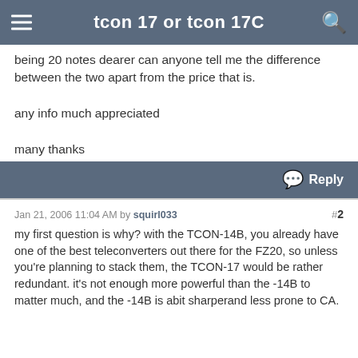tcon 17 or tcon 17C
being 20 notes dearer can anyone tell me the difference between the two apart from the price that is.

any info much appreciated

many thanks

mark
Reply
Jan 21, 2006 11:04 AM by squirl033  #2
my first question is why? with the TCON-14B, you already have one of the best teleconverters out there for the FZ20, so unless you're planning to stack them, the TCON-17 would be rather redundant. it's not enough more powerful than the -14B to matter much, and the -14B is abit sharperand less prone to CA.